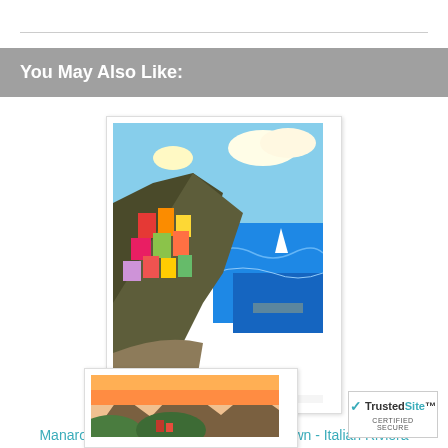You May Also Like:
[Figure (illustration): Colorful painting of Manarola, Italy - Cinque Terre coastal town with colorful buildings on a cliff overlooking the sea]
Manarola, Italy - Cinque Terre Coastal Town - Italian Riviera
Fine Art Prints & Posters
[Figure (illustration): Partial view of another art print showing a coastal mountain landscape]
[Figure (logo): TrustedSite Certified Secure badge]